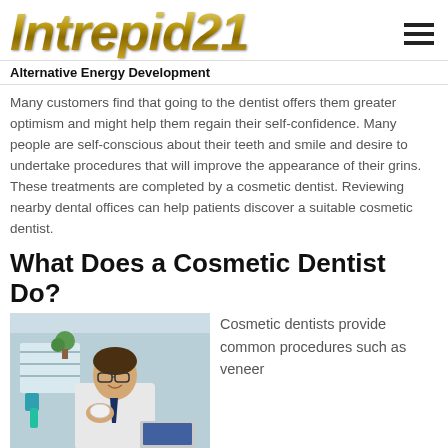Intrepid21
Alternative Energy Development
Many customers find that going to the dentist offers them greater optimism and might help them regain their self-confidence. Many people are self-conscious about their teeth and smile and desire to undertake procedures that will improve the appearance of their grins. These treatments are completed by a cosmetic dentist. Reviewing nearby dental offices can help patients discover a suitable cosmetic dentist.
What Does a Cosmetic Dentist Do?
[Figure (photo): Photo of a smiling male dentist in a white coat holding dental prosthetics, with a laptop visible and a dental office background. Overlay text reads: What You Should Know About Dental Implants Procedures]
Cosmetic dentists provide common procedures such as veneer